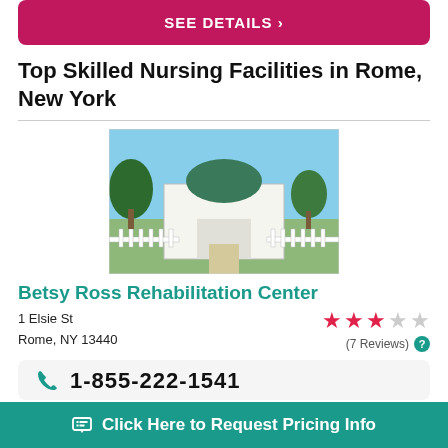SEE DETAILS >
Top Skilled Nursing Facilities in Rome, New York
[Figure (photo): Exterior photo of Betsy Ross Rehabilitation Center, a white building with green dome and white picket fence, trees in background, clear blue sky.]
Betsy Ross Rehabilitation Center
1 Elsie St
Rome, NY 13440
(7 Reviews)
1-855-222-1541
Click Here to Request Pricing Info